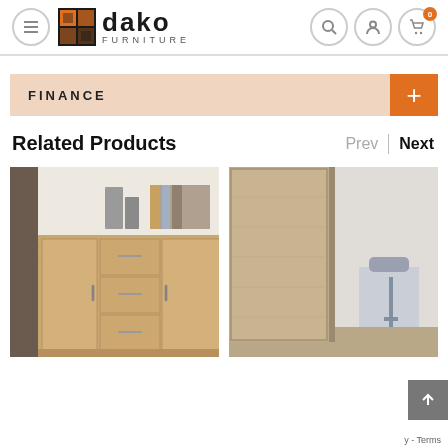[Figure (screenshot): Dako Furniture website header with logo, hamburger menu, search, account, and cart icons]
FINANCE
Related Products
[Figure (photo): Wooden sideboard/chest of drawers with three drawers and two cabinet doors, items on top]
[Figure (photo): Sliding door wardrobe in wood finish with mirror, bedroom background visible]